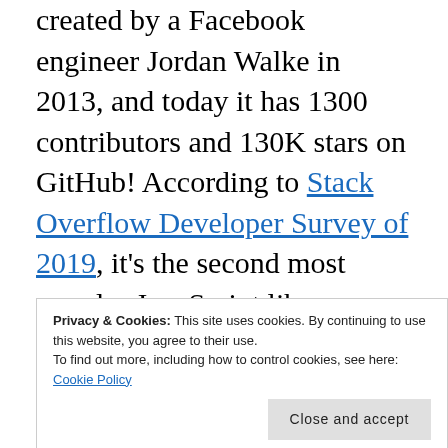created by a Facebook engineer Jordan Walke in 2013, and today it has 1300 contributors and 130K stars on GitHub! According to Stack Overflow Developer Survey of 2019, it's the second most popular JavaScript library (jQuery remains the most broadly used library), and
Privacy & Cookies: This site uses cookies. By continuing to use this website, you agree to their use.
To find out more, including how to control cookies, see here: Cookie Policy
Close and accept
framework but a library responsible